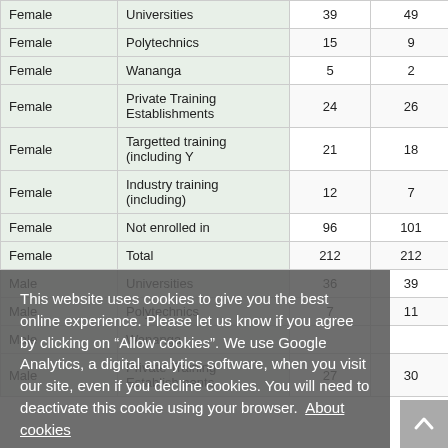|  |  |  |  |  |
| --- | --- | --- | --- | --- |
| Female | Universities | 39 | 49 | 42 |
| Female | Polytechnics | 15 | 9 | 9 |
| Female | Wananga | 5 | 2 | 0 |
| Female | Private Training Establishments | 24 | 26 | 37 |
| Female | Targetted training (including Y | 21 | 18 | 21 |
| Female | Industry training (including) | 12 | 7 | 12 |
| Female | Not enrolled in | 96 | 101 | 93 |
| Female | Total | 212 | 212 | 214 |
| Male | Universities | 36 | 39 | 19 |
| Male | Polytechnics | 7 | 11 | 9 |
| Male | Wananga |  |  | 0 |
| Male | Private Training Establishments | 27 | 30 | 26 |
This website uses cookies to give you the best online experience. Please let us know if you agree by clicking on "Allow cookies". We use Google Analytics, a digital analytics software, when you visit our site, even if you decline cookies. You will need to deactivate this cookie using your browser. About cookies